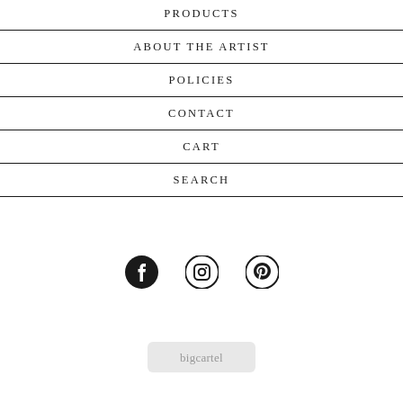PRODUCTS
ABOUT THE ARTIST
POLICIES
CONTACT
CART
SEARCH
[Figure (illustration): Social media icons: Facebook, Instagram, Pinterest]
[Figure (logo): Big Cartel logo badge]